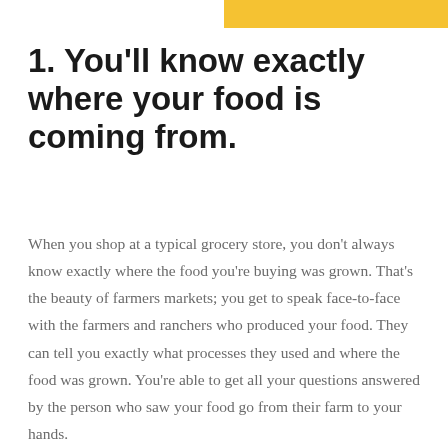[Figure (other): Yellow decorative bar at the top right of the page]
1. You'll know exactly where your food is coming from.
When you shop at a typical grocery store, you don't always know exactly where the food you're buying was grown. That's the beauty of farmers markets; you get to speak face-to-face with the farmers and ranchers who produced your food. They can tell you exactly what processes they used and where the food was grown. You're able to get all your questions answered by the person who saw your food go from their farm to your hands.